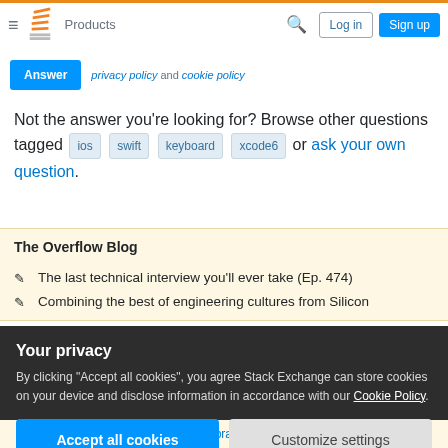≡  Products  🔍  Log in  Sign up
privacy policy and cookie policy
Not the answer you're looking for? Browse other questions tagged ios swift keyboard xcode6 or ask your own question.
The Overflow Blog
The last technical interview you'll ever take (Ep. 474)
Combining the best of engineering cultures from Silicon
Your privacy
By clicking "Accept all cookies", you agree Stack Exchange can store cookies on your device and disclose information in accordance with our Cookie Policy.
Accept all cookies  Customize settings